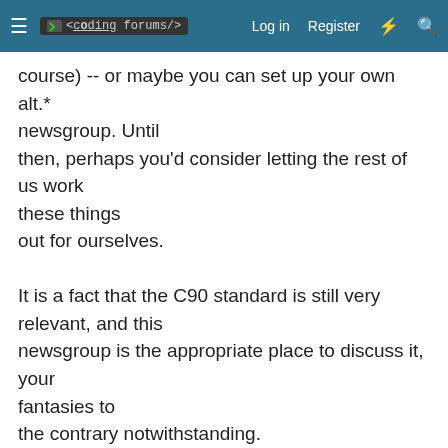< coding forums/>   Log in   Register
course) -- or maybe you can set up your own alt.* newsgroup. Until then, perhaps you'd consider letting the rest of us work these things out for ourselves.

It is a fact that the C90 standard is still very relevant, and this newsgroup is the appropriate place to discuss it, your fantasies to the contrary notwithstanding.
Reply
Kenny McCormack
Aug 4, 2006   #11
If by `one' you mean yourself, you did nothing wrong. If by `one'